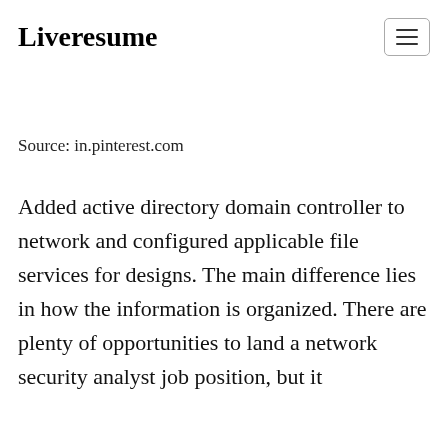Liveresume
Source: in.pinterest.com
Added active directory domain controller to network and configured applicable file services for designs. The main difference lies in how the information is organized. There are plenty of opportunities to land a network security analyst job position, but it